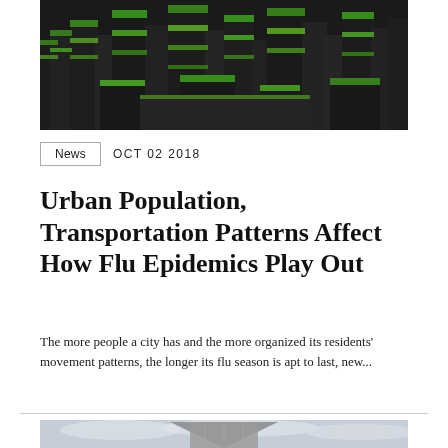[Figure (photo): Aerial view of a dense urban cityscape with dark skyscrapers covered in bright green vegetation/moss overlay, high-contrast black and green color scheme]
News   OCT 02 2018
Urban Population, Transportation Patterns Affect How Flu Epidemics Play Out
The more people a city has and the more organized its residents' movement patterns, the longer its flu season is apt to last, new...
[Figure (photo): Partial view of a building with a triangular/pyramid-like roof structure against a cloudy sky]